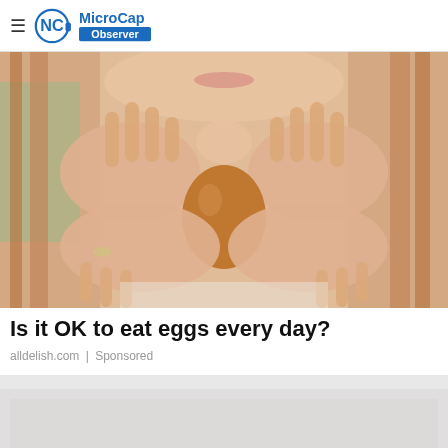MicroCap Observer
[Figure (photo): Woman holding a brown egg in a heart shape with her hands, close-up photo with blurred face showing a smile in the background]
Is it OK to eat eggs every day?
alldelish.com | Sponsored
[Figure (photo): Partial bottom image, mostly gray/light colored, content cut off]